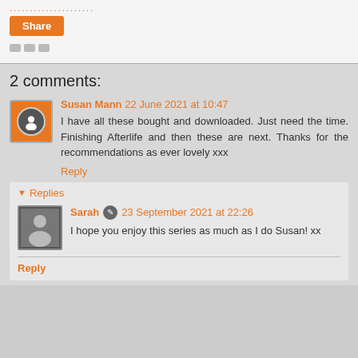[Figure (screenshot): Top bar with dotted orange line, orange Share button, and reaction icons area]
2 comments:
Susan Mann 22 June 2021 at 10:47
I have all these bought and downloaded. Just need the time. Finishing Afterlife and then these are next. Thanks for the recommendations as ever lovely xxx
Reply
Replies
Sarah 23 September 2021 at 22:26
I hope you enjoy this series as much as I do Susan! xx
Reply